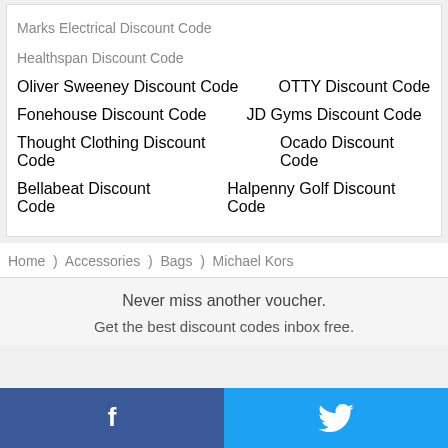Marks Electrical Discount Code
Healthspan Discount Code
Oliver Sweeney Discount Code   OTTY Discount Code
Fonehouse Discount Code   JD Gyms Discount Code
Thought Clothing Discount Code   Ocado Discount Code
Bellabeat Discount Code   Halpenny Golf Discount Code
Home  )  Accessories  )  Bags  )  Michael Kors
Never miss another voucher.
Get the best discount codes inbox free.
[Figure (other): Facebook and Twitter share buttons at the bottom of the page]